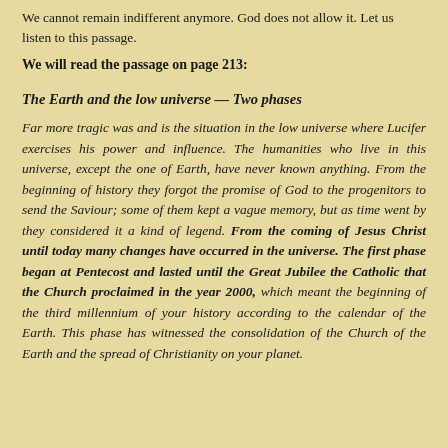We cannot remain indifferent anymore. God does not allow it. Let us listen to this passage.
We will read the passage on page 213:
The Earth and the low universe — Two phases
Far more tragic was and is the situation in the low universe where Lucifer exercises his power and influence. The humanities who live in this universe, except the one of Earth, have never known anything. From the beginning of history they forgot the promise of God to the progenitors to send the Saviour; some of them kept a vague memory, but as time went by they considered it a kind of legend. From the coming of Jesus Christ until today many changes have occurred in the universe. The first phase began at Pentecost and lasted until the Great Jubilee the Catholic that the Church proclaimed in the year 2000, which meant the beginning of the third millennium of your history according to the calendar of the Earth. This phase has witnessed the consolidation of the Church of the Earth and the spread of Christianity on your planet.